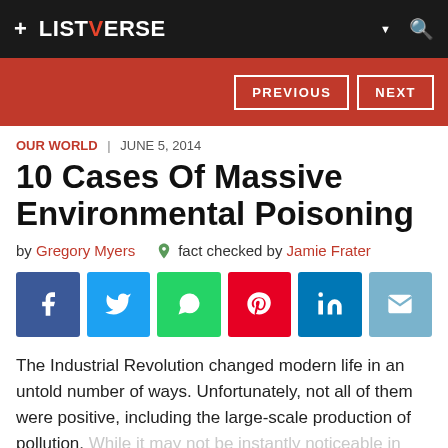+ LISTVERSE
PREVIOUS  NEXT
OUR WORLD | JUNE 5, 2014
10 Cases Of Massive Environmental Poisoning
by Gregory Myers  fact checked by Jamie Frater
[Figure (other): Social sharing buttons: Facebook, Twitter, WhatsApp, Pinterest, LinkedIn, Email]
The Industrial Revolution changed modern life in an untold number of ways. Unfortunately, not all of them were positive, including the large-scale production of pollution. While it may not be instantly noticeable in some areas, that doesn't change the fact that our world has been